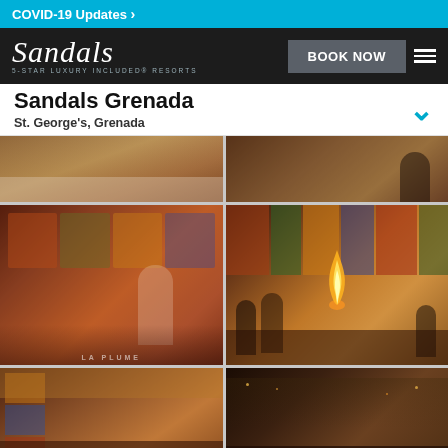COVID-19 Updates >
[Figure (screenshot): Sandals logo with text '5-STAR LUXURY INCLUDED® RESORTS', BOOK NOW button, and hamburger menu on dark nav bar]
Sandals Grenada
St. George's, Grenada
[Figure (photo): Restaurant interior - elegant dining room with warm lighting]
[Figure (photo): Fine dining scene with chef and guests]
[Figure (photo): Asian restaurant interior with colorful artwork backdrop and chef performing tableside cooking with flames, guests seated at teppanyaki table]
[Figure (photo): Teppanyaki restaurant scene with chef cooking with flames at table with multiple guests seated around it, colorful stained-glass style backdrop]
[Figure (photo): Restaurant interior with warm tones and decorative windows]
[Figure (photo): Dimly lit bar or lounge interior at night]